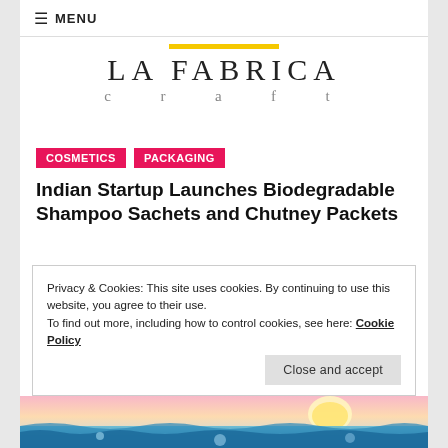≡ MENU
[Figure (logo): La Fabrica craft logo with yellow bar above, main text LA FABRICA in serif font, subtitle 'c r a f t' in grey]
COSMETICS
PACKAGING
Indian Startup Launches Biodegradable Shampoo Sachets and Chutney Packets
Privacy & Cookies: This site uses cookies. By continuing to use this website, you agree to their use.
To find out more, including how to control cookies, see here: Cookie Policy
[Figure (photo): Ocean/sea water scene with sunset sky in pink and blue tones, water splashing at bottom]